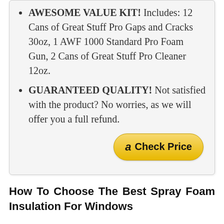AWESOME VALUE KIT! Includes: 12 Cans of Great Stuff Pro Gaps and Cracks 30oz, 1 AWF 1000 Standard Pro Foam Gun, 2 Cans of Great Stuff Pro Cleaner 12oz.
GUARANTEED QUALITY! Not satisfied with the product? No worries, as we will offer you a full refund.
[Figure (other): Amazon Check Price button with Amazon logo 'a' icon and text 'Check Price' on a yellow rounded button]
How To Choose The Best Spray Foam Insulation For Windows
Does the thought of finding a great Spray Foam Insulation For Windows stress you out? Has your mind been juggling between choices